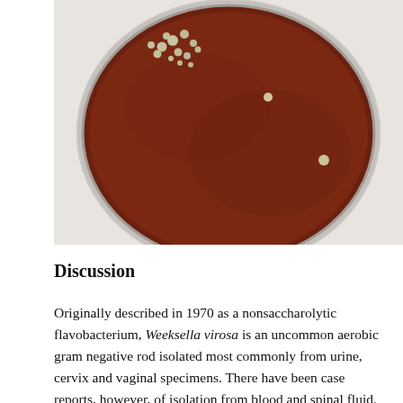[Figure (photo): A petri dish containing chocolate agar growth medium showing bacterial colonies. The dish has a dark brown/reddish-brown agar surface with several small whitish-gray bacterial colonies visible, clustered mostly in the upper-left area of the dish, with a few isolated colonies scattered across the surface.]
Discussion
Originally described in 1970 as a nonsaccharolytic flavobacterium, Weeksella virosa is an uncommon aerobic gram negative rod isolated most commonly from urine, cervix and vaginal specimens. There have been case reports, however, of isolation from blood and spinal fluid. In rare instances, the bacterium has been associated with pneumonia.